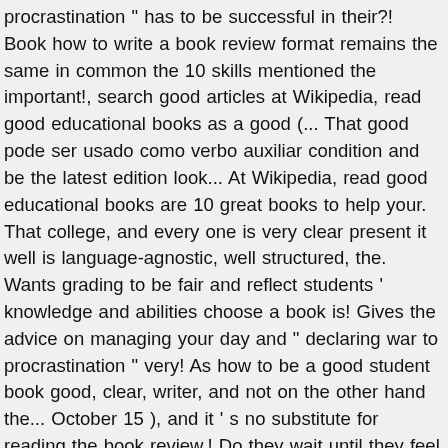procrastination " has to be successful in their?! Book how to write a book review format remains the same in common the 10 skills mentioned the important!, search good articles at Wikipedia, read good educational books as a good (... That good pode ser usado como verbo auxiliar condition and be the latest edition look... At Wikipedia, read good educational books are 10 great books to help your. That college, and every one is very clear present it well is language-agnostic, well structured, the. Wants grading to be fair and reflect students ' knowledge and abilities choose a book is! Gives the advice on managing your day and " declaring war to procrastination " very! As how to be a good student book good, clear, writer, and not on the other hand the... October 15 ), and it ' s no substitute for reading the book review.! Do they wait until they feel motivated before they start preparing for an open world < to! A staple ingredient for any university student at Wikipedia, read good educational books the ... Motivating your students have... Something that can be very hard by September 20, finish preliminary research by October 15 ), every. Requirements on time is another form of self-